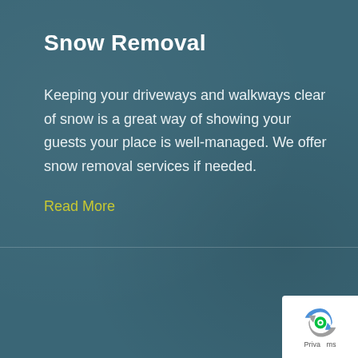Snow Removal
Keeping your driveways and walkways clear of snow is a great way of showing your guests your place is well-managed. We offer snow removal services if needed.
Read More
[Figure (illustration): White outline icon of a tree on a teal/dark blue textured background]
[Figure (logo): Google reCAPTCHA badge with blue/green logo and 'Privacy - Terms' text]